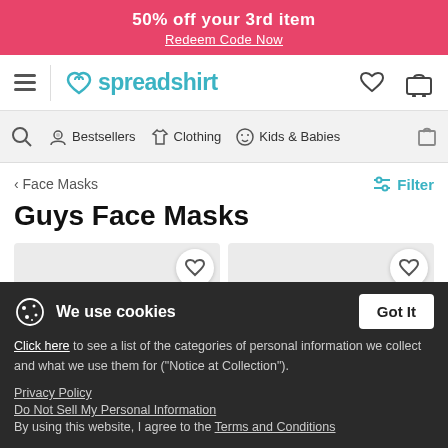50% off your 3rd item
Redeem Code Now
[Figure (logo): Spreadshirt navigation bar with hamburger menu, heart logo, brand name in teal, wishlist heart icon and shopping cart icon]
[Figure (screenshot): Category navigation bar with search icon, Bestsellers, Clothing, Kids & Babies, and bag icon]
< Face Masks
Filter
Guys Face Masks
[Figure (photo): Two product cards showing face masks with heart/wishlist buttons, products partially obscured by cookie overlay]
We use cookies
Got It
Click here to see a list of the categories of personal information we collect and what we use them for ("Notice at Collection").
Privacy Policy
Do Not Sell My Personal Information
By using this website, I agree to the Terms and Conditions